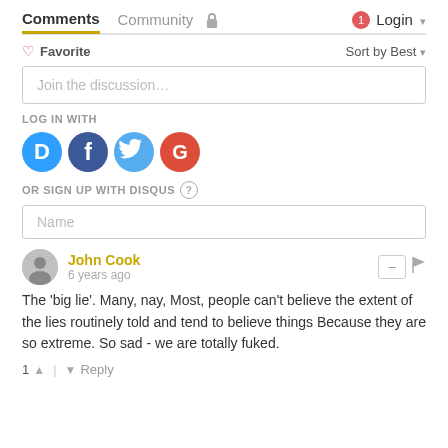Comments  Community  Login
♡ Favorite   Sort by Best
Join the discussion...
LOG IN WITH
[Figure (infographic): Social login icons: Disqus (blue speech bubble with D), Facebook (dark blue circle with F), Twitter (light blue circle with bird), Google (red circle with G)]
OR SIGN UP WITH DISQUS ?
Name
John Cook
6 years ago
The 'big lie'. Many, nay, Most, people can't believe the extent of the lies routinely told and tend to believe things Because they are so extreme. So sad - we are totally fuked.
1 ↑ | ↓ Reply